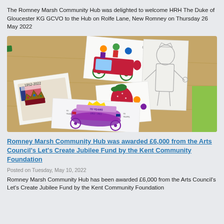The Romney Marsh Community Hub was delighted to welcome HRH The Duke of Gloucester KG GCVO to the Hub on Rolfe Lane, New Romney on Thursday 26 May 2022
[Figure (photo): Photograph of children's hand-drawn and coloured illustrations laid on a wooden table, featuring Jubilee themes including crowns, carriages, and figures. One card shows '1952-2022' with a Union Jack and crown. A purple-themed jubilee carriage illustration reads '70 Years 1952-2022'.]
Romney Marsh Community Hub was awarded £6,000 from the Arts Council's Let's Create Jubilee Fund by the Kent Community Foundation
Posted on Tuesday, May 10, 2022
Romney Marsh Community Hub has been awarded £6,000 from the Arts Council's Let's Create Jubilee Fund by the Kent Community Foundation